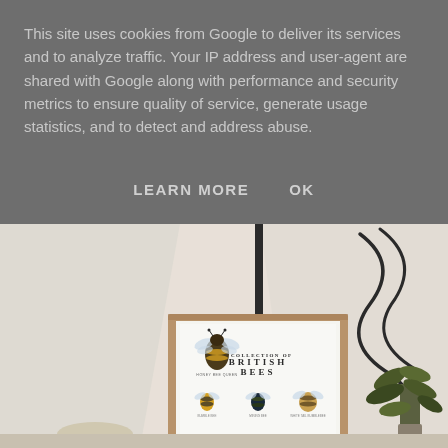This site uses cookies from Google to deliver its services and to analyze traffic. Your IP address and user-agent are shared with Google along with performance and security metrics to ensure quality of service, generate usage statistics, and to detect and address abuse.
LEARN MORE    OK
[Figure (photo): A framed 'British Bees' illustrated print leaning against a white wall with a dark vertical bar and decorative curling lines visible in the background. A small plant is partially visible on the right side.]